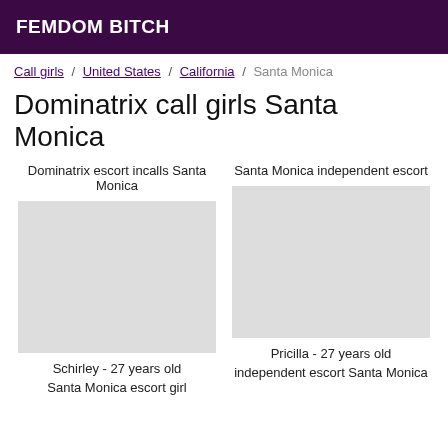FEMDOM BITCH
Call girls / United States / California / Santa Monica
Dominatrix call girls Santa Monica
Dominatrix escort incalls Santa Monica
Santa Monica independent escort
Schirley - 27 years old
Santa Monica escort girl
Pricilla - 27 years old
independent escort Santa Monica